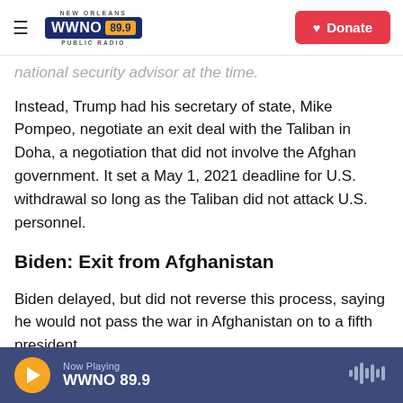NEW ORLEANS WWNO 89.9 PUBLIC RADIO | Donate
national security advisor at the time.
Instead, Trump had his secretary of state, Mike Pompeo, negotiate an exit deal with the Taliban in Doha, a negotiation that did not involve the Afghan government. It set a May 1, 2021 deadline for U.S. withdrawal so long as the Taliban did not attack U.S. personnel.
Biden: Exit from Afghanistan
Biden delayed, but did not reverse this process, saying he would not pass the war in Afghanistan on to a fifth president.
Now Playing WWNO 89.9